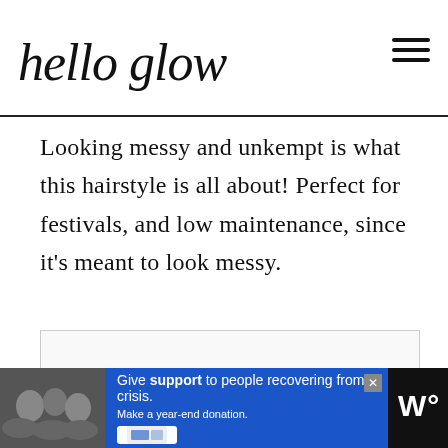hello glow
Looking messy and unkempt is what this hairstyle is all about! Perfect for festivals, and low maintenance, since it’s meant to look messy.
[Figure (photo): Advertisement banner at bottom of page showing a family photo on the left, blue background with text 'Give support to people recovering from crisis. Make a year-end donation.' and an X close button, with a dark right panel showing stylized W logo.]